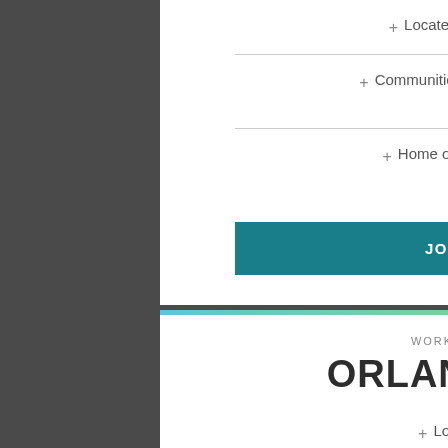+ Located on Florida's Atlantic coast
+ Communities include Stuart, Port St. Lucie, and Vero Beach
+ Home of Seacoast Bank's corporate headquarters
JOBS IN THIS AREA
WORKING AND LIVING HERE
ORLANDO REGION
+ Located in central Florida